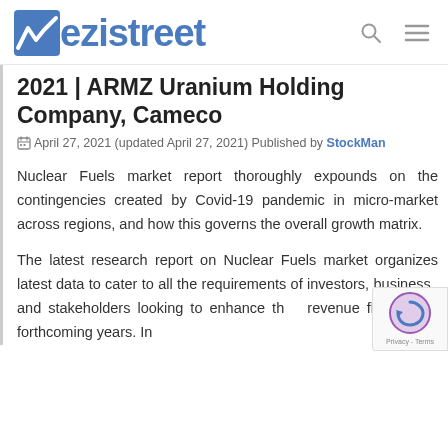ezistreet
2021 | ARMZ Uranium Holding Company, Cameco
April 27, 2021 (updated April 27, 2021) Published by StockMan
Nuclear Fuels market report thoroughly expounds on the contingencies created by Covid-19 pandemic in micro-market across regions, and how this governs the overall growth matrix.
The latest research report on Nuclear Fuels market organizes latest data to cater to all the requirements of investors, business and stakeholders looking to enhance the revenue flow in the forthcoming years. In